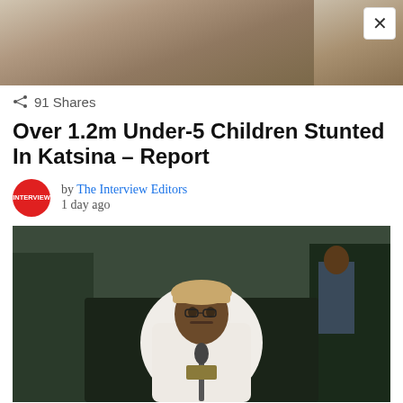[Figure (photo): Partial top image strip showing people in background, cropped]
91 Shares
Over 1.2m Under-5 Children Stunted In Katsina – Report
by The Interview Editors
1 day ago
[Figure (photo): Man in white traditional Nigerian attire and cap seated at a table with a microphone, with people in background]